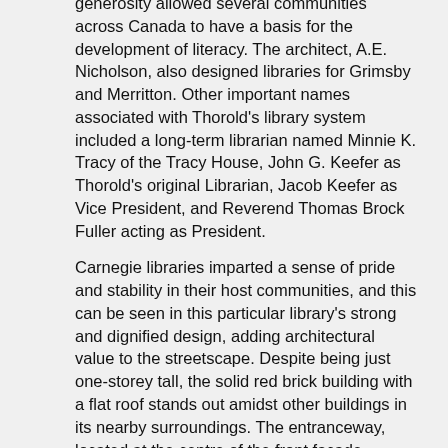generosity allowed several communities across Canada to have a basis for the development of literacy. The architect, A.E. Nicholson, also designed libraries for Grimsby and Merritton. Other important names associated with Thorold's library system included a long-term librarian named Minnie K. Tracy of the Tracy House, John G. Keefer as Thorold's original Librarian, Jacob Keefer as Vice President, and Reverend Thomas Brock Fuller acting as President.
Carnegie libraries imparted a sense of pride and stability in their host communities, and this can be seen in this particular library's strong and dignified design, adding architectural value to the streetscape. Despite being just one-storey tall, the solid red brick building with a flat roof stands out amidst other buildings in its nearby surroundings. The entranceway, located at the centre of the front facade, extends outwards and is decorated and supported by two massive white columns.
Source: City of Thorold By-law No. 2219(98): Notice of Intention to Designate
CHARACTER-DEFINING ELEMENTS
Character-defining elements that reflect the heritage value of Thorold's Carnegie Library include:
-association with Andrew Carnegie, who funded the construction of